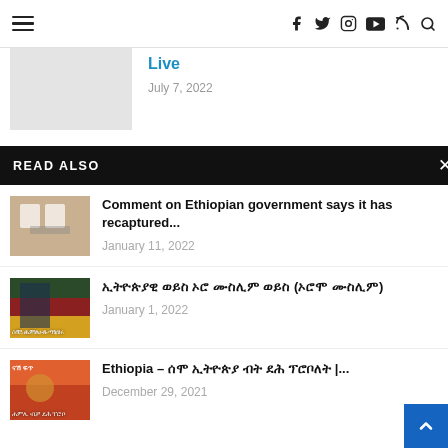Navigation bar with hamburger menu and social icons (facebook, twitter, instagram, youtube, rss, search)
Live
July 7, 2022
READ ALSO
Comment on Ethiopian government says it has recaptured...
January 11, 2022
ኢትዮጵያዊ ወይስ ኦሮ ሙስሊም ወይስ (ኦሮሞ ሙስሊም)
January 1, 2022
Ethiopia – ሰሞ ኢትዮጵያ ብት ደሕ ፕሮቦለት |...
December 29, 2021
ለሕ ሰብዓ 'ኦ' ዋዕሎ ዓደ
| Hangaasa Ahmed Oromia
ኦሮሞ ሙስሊም ዓደ | "ሙስሊም ዓ" | mon Bogale | Addis Media